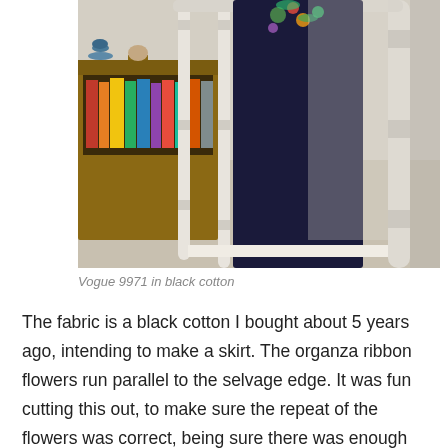[Figure (photo): A person wearing a dark navy/black cotton garment with floral embroidery or ribbon flowers, standing near white stair banisters. In the background are wooden bookshelves with books and decorative items.]
Vogue 9971 in black cotton
The fabric is a black cotton I bought about 5 years ago, intending to make a skirt.  The organza ribbon flowers run parallel to the selvage edge.  It was fun cutting this out, to make sure the repeat of the flowers was correct, being sure there was enough for the bodice, as I'd only bought just over a metre!